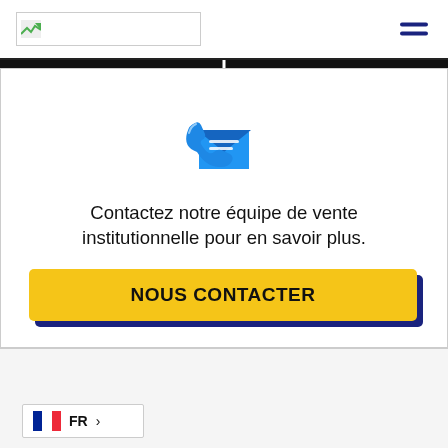[Figure (logo): Website header with logo placeholder and hamburger menu icon]
[Figure (illustration): Phone and envelope contact icon in blue tones]
Contactez notre équipe de vente institutionnelle pour en savoir plus.
NOUS CONTACTER
[Figure (illustration): French language selector with French flag and FR label]